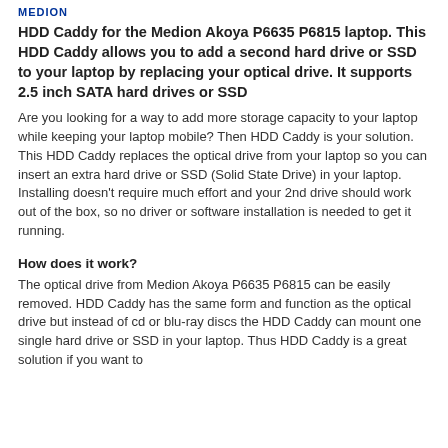MEDION
HDD Caddy for the Medion Akoya P6635 P6815 laptop. This HDD Caddy allows you to add a second hard drive or SSD to your laptop by replacing your optical drive. It supports 2.5 inch SATA hard drives or SSD
Are you looking for a way to add more storage capacity to your laptop while keeping your laptop mobile? Then HDD Caddy is your solution. This HDD Caddy replaces the optical drive from your laptop so you can insert an extra hard drive or SSD (Solid State Drive) in your laptop. Installing doesn't require much effort and your 2nd drive should work out of the box, so no driver or software installation is needed to get it running.
How does it work?
The optical drive from Medion Akoya P6635 P6815 can be easily removed. HDD Caddy has the same form and function as the optical drive but instead of cd or blu-ray discs the HDD Caddy can mount one single hard drive or SSD in your laptop. Thus HDD Caddy is a great solution if you want to